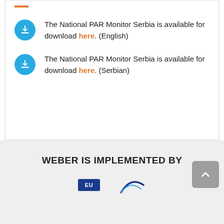The National PAR Monitor Serbia is available for download here. (English)
The National PAR Monitor Serbia is available for download here. (Serbian)
WEBER IS IMPLEMENTED BY
[Figure (logo): EU logo (blue rectangle with text) and SIGMA logo (curved graphic)]